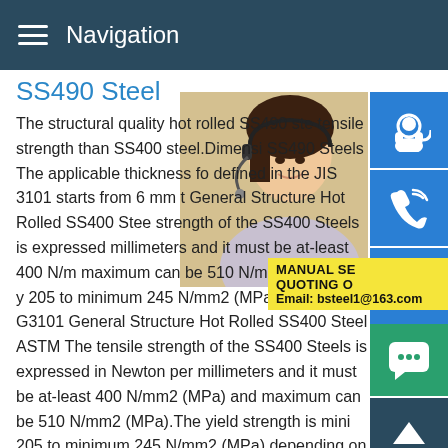Navigation
SS490 Steel
The structural quality hot rolled SS490 ste tensile strength than SS400 steel.Dimensi SS490 Steels The applicable thickness fo defined in the JIS 3101 starts from 6 mm t General Structure Hot Rolled SS400 Stee strength of the SS400 Steels is expressed millimeters and it must be at-least 400 N/m maximum can be 510 N/mm2 (MPa).The y 205 to minimum 245 N/mm2 (MPa) depen G3101 General Structure Hot Rolled SS400 Steel ASTM The tensile strength of the SS400 Steels is expressed in Newton per millimeters and it must be at-least 400 N/mm2 (MPa) and maximum can be 510 N/mm2 (MPa).The yield strength is mini 205 to minimum 245 N/mm2 (MPa) depending on the thicknes
[Figure (photo): Woman with headset smiling, customer service representative]
[Figure (infographic): Blue side icons: customer support headset, phone, Skype logo; green chat bubble icon; dark scroll-to-top arrow icon]
MANUAL SE QUOTING O Email: bsteel1@163.com